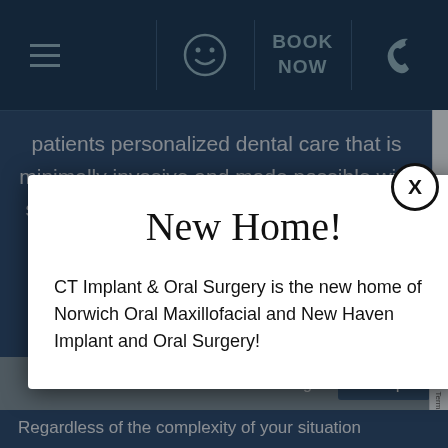BOOK NOW
patients personalized dental care that is minimally invasive and made possible with superior dental technologies, techniques, and
New Home!
CT Implant & Oral Surgery is the new home of Norwich Oral Maxillofacial and New Haven Implant and Oral Surgery!
Cookies settings
Accept
Regardless of the complexity of your situation